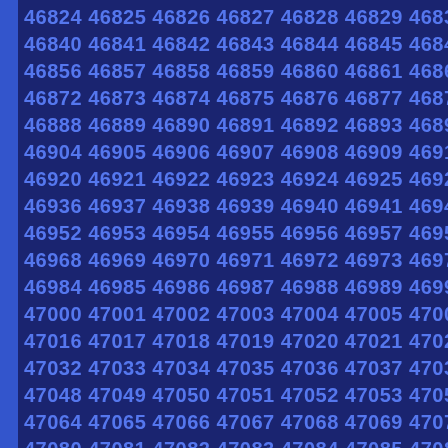[Figure (other): Grid of sequential numbers from 46824 to 47121+ arranged in rows of 10 (with some cut off at right edge), displayed in blue bold text on a dark navy background with a blue vertical bar on the left side.]